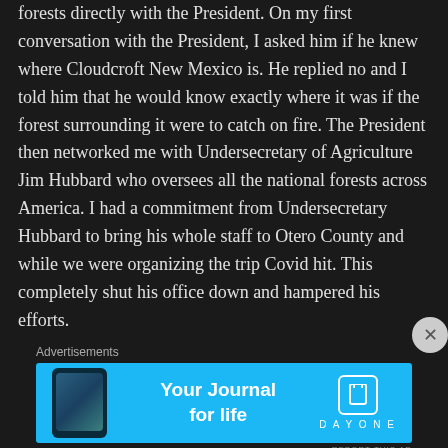forests directly with the President. On my first conversation with the President, I asked him if he knew where Cloudcroft New Mexico is. He replied no and I told him that he would know exactly where it was if the forest surrounding it were to catch on fire. The President then networked me with Undersecretary of Agriculture Jim Hubbard who oversees all the national forests across America. I had a commitment from Undersecretary Hubbard to bring his whole staff to Otero County and while we were organizing the trip Covid hit. This completely shut his office down and hampered his efforts.
Advertisements
[Figure (other): Advertisement banner for Day One journal app with blue background, phone image on left, 'Your Journal for life' text, and Day One logo on right]
Advertisements
[Figure (other): Advertisement banner for DuckDuckGo with orange background on left saying 'Search, browse, and email with more privacy. All in One Free App' and dark background with DuckDuckGo logo on right]